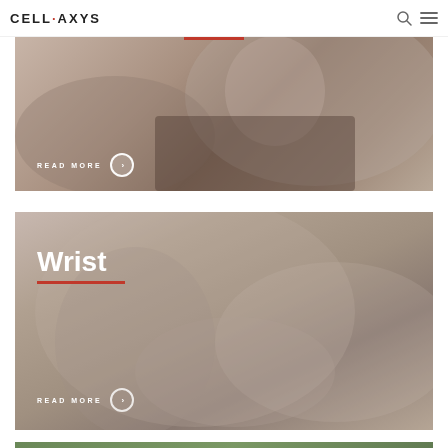CELL·AXYS
[Figure (photo): Medical professional treating a patient's shoulder/arm, partially visible card with READ MORE button]
[Figure (photo): Woman holding her wrist in pain, labeled 'Wrist' with orange underline and READ MORE button]
[Figure (photo): Partially visible card at bottom, green-toned background, teaser of another condition]